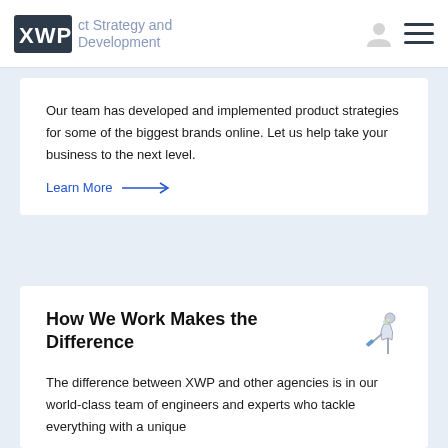XWP — Product Strategy and Development
Our team has developed and implemented product strategies for some of the biggest brands online. Let us help take your business to the next level.
Learn More →
How We Work Makes the Difference
The difference between XWP and other agencies is in our world-class team of engineers and experts who tackle everything with a unique